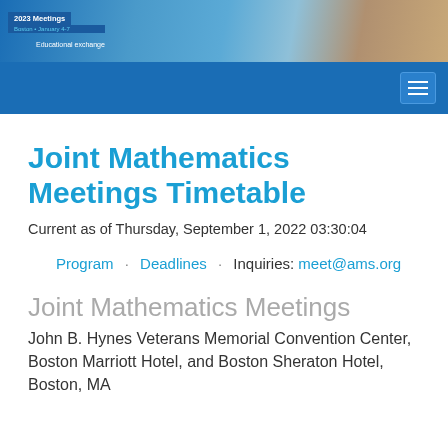[Figure (photo): Header photo showing JMM 2023 Meetings banner with people in background, Boston January 4-7, Educational exchange text]
Navigation bar with hamburger menu icon
Joint Mathematics Meetings Timetable
Current as of Thursday, September 1, 2022 03:30:04
Program · Deadlines · Inquiries: meet@ams.org
Joint Mathematics Meetings
John B. Hynes Veterans Memorial Convention Center, Boston Marriott Hotel, and Boston Sheraton Hotel, Boston, MA